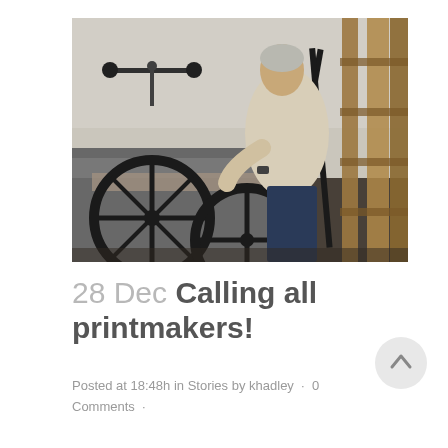[Figure (photo): A man operating a large printmaking press in a studio. He leans over the press rolling a large black wheel. Wooden frames and ladders are visible in the background.]
28 Dec Calling all printmakers!
Posted at 18:48h in Stories by khadley · 0 Comments ·